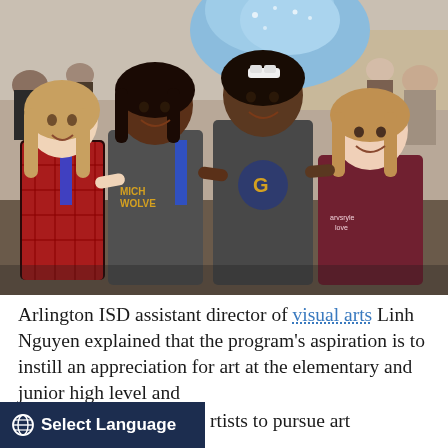[Figure (photo): Four elementary-age girls smiling and posing together at an art event. One wears a red plaid shirt, one a gray Michigan Wolverines shirt with a blue ribbon, one a gray shirt with a blue letter G graphic, and one a maroon shirt. Behind them is a large blue sculptural art piece and a crowd of people in a venue.]
Arlington ISD assistant director of visual arts Linh Nguyen explained that the program's aspiration is to instill an appreciation for art at the elementary and junior high level and [partially obscured] rtists to pursue art
Select Language